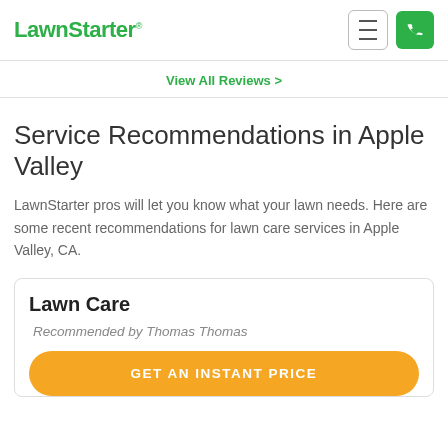LawnStarter
View All Reviews >
Service Recommendations in Apple Valley
LawnStarter pros will let you know what your lawn needs. Here are some recent recommendations for lawn care services in Apple Valley, CA.
Lawn Care
Recommended by Thomas Thomas
GET AN INSTANT PRICE